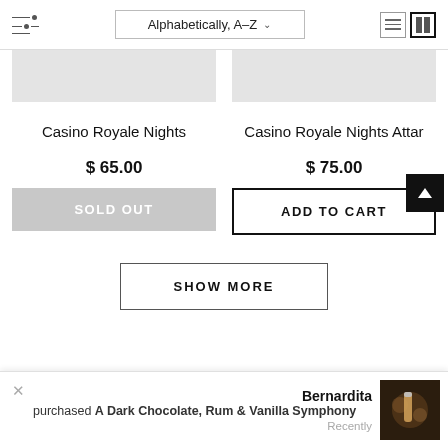[Figure (screenshot): Top toolbar with filter icon, sort dropdown 'Alphabetically, A-Z', and list/grid view icons]
[Figure (photo): Product image placeholder for Casino Royale Nights (grey rectangle)]
Casino Royale Nights
$ 65.00
SOLD OUT
[Figure (photo): Product image placeholder for Casino Royale Nights Attar (grey rectangle)]
Casino Royale Nights Attar
$ 75.00
ADD TO CART
SHOW MORE
Bernardita
purchased A Dark Chocolate, Rum & Vanilla Symphony
Recently